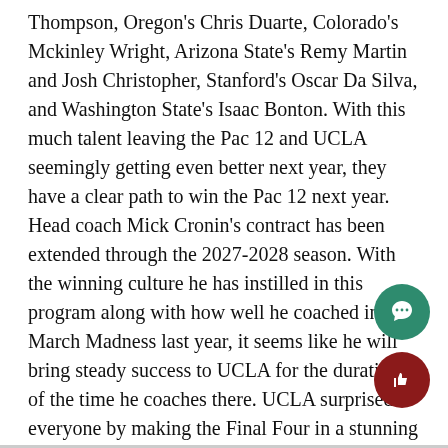Thompson, Oregon's Chris Duarte, Colorado's Mckinley Wright, Arizona State's Remy Martin and Josh Christopher, Stanford's Oscar Da Silva, and Washington State's Isaac Bonton. With this much talent leaving the Pac 12 and UCLA seemingly getting even better next year, they have a clear path to win the Pac 12 next year. Head coach Mick Cronin's contract has been extended through the 2027-2028 season. With the winning culture he has instilled in this program along with how well he coached in March Madness last year, it seems like he will bring steady success to UCLA for the duration of the time he coaches there. UCLA surprised everyone by making the Final Four in a stunning run this March, but this is just the beginning for the Bruins.
[Figure (other): Green circular comment/chat button icon]
[Figure (other): Dark red circular thumbs-up like button icon]